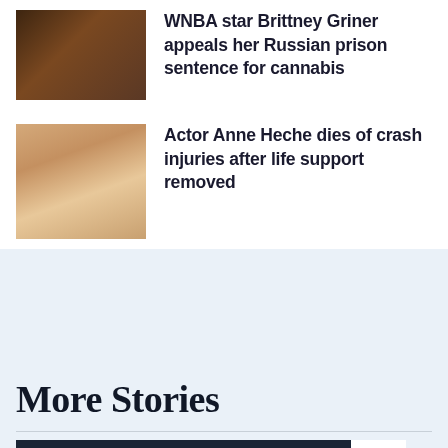[Figure (photo): Thumbnail photo of Brittney Griner]
WNBA star Brittney Griner appeals her Russian prison sentence for cannabis
[Figure (photo): Thumbnail photo of Anne Heche]
Actor Anne Heche dies of crash injuries after life support removed
More Stories
[Figure (screenshot): PBS NewsHour video thumbnail with play button]